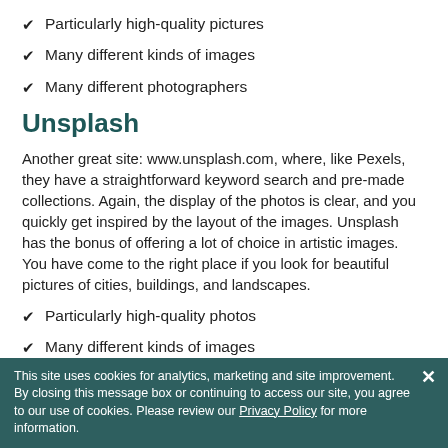✔ Particularly high-quality pictures
✔ Many different kinds of images
✔ Many different photographers
Unsplash
Another great site: www.unsplash.com, where, like Pexels, they have a straightforward keyword search and pre-made collections. Again, the display of the photos is clear, and you quickly get inspired by the layout of the images. Unsplash has the bonus of offering a lot of choice in artistic images. You have come to the right place if you look for beautiful pictures of cities, buildings, and landscapes.
✔ Particularly high-quality photos
✔ Many different kinds of images
This site uses cookies for analytics, marketing and site improvement. By closing this message box or continuing to access our site, you agree to our use of cookies. Please review our Privacy Policy for more information.